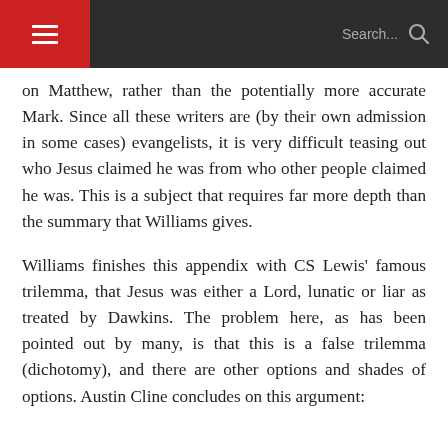☰  Search...  🔍
on Matthew, rather than the potentially more accurate Mark. Since all these writers are (by their own admission in some cases) evangelists, it is very difficult teasing out who Jesus claimed he was from who other people claimed he was. This is a subject that requires far more depth than the summary that Williams gives.
Williams finishes this appendix with CS Lewis' famous trilemma, that Jesus was either a Lord, lunatic or liar as treated by Dawkins. The problem here, as has been pointed out by many, is that this is a false trilemma (dichotomy), and there are other options and shades of options. Austin Cline concludes on this argument: